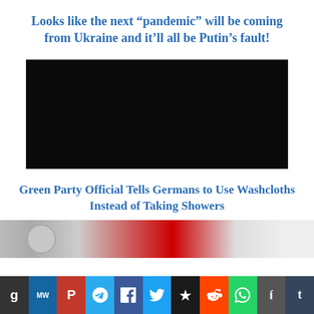Looks like the next “pandemic” will be coming from Ukraine and it’ll all be Putin’s fault!
[Figure (other): Black video embed placeholder]
Green Party Official Tells Germans to Use Washcloths Instead of Taking Showers
[Figure (other): Thumbnail preview strip partially visible]
[Figure (other): Social media sharing icon bar: g, MW, P, Telegram, Facebook, Twitter, star, Reddit, WhatsApp, i, Tumblr]